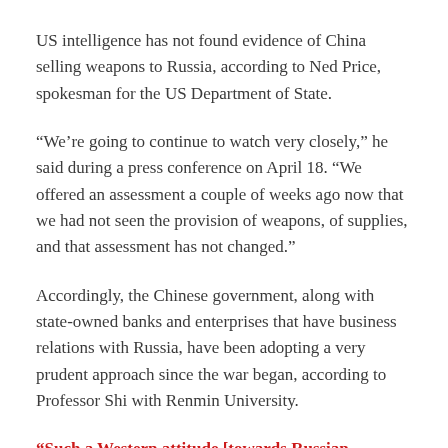US intelligence has not found evidence of China selling weapons to Russia, according to Ned Price, spokesman for the US Department of State.
“We’re going to continue to watch very closely,” he said during a press conference on April 18. “We offered an assessment a couple of weeks ago now that we had not seen the provision of weapons, of supplies, and that assessment has not changed.”
Accordingly, the Chinese government, along with state-owned banks and enterprises that have business relations with Russia, have been adopting a very prudent approach since the war began, according to Professor Shi with Renmin University.
“Such a Western attitude [towards Russian aggression] has probably been fully anticipated by